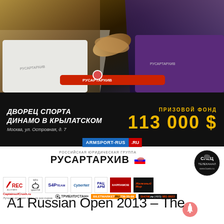[Figure (photo): Two arm wrestlers competing at a table, one in white shirt, one in purple shirt, branded with РУСАРТАРХИВ logos]
ДВОРЕЦ СПОРТА ДИНАМО В КРЫЛАТСКОМ
Москва, ул. Островная, д. 7
ПРИЗОВОЙ ФОНД
113 000 $
ARMSPORT-RUS.RU
[Figure (logo): РУСАРТАРХИВ sponsor logo with Russian flag]
[Figure (logo): СПЕЦ ТЕЛЕКАНАЛ / boets.ru logo]
[Figure (logo): REC logo]
[Figure (logo): ШАНТИ logo]
[Figure (logo): S4P TEAM logo]
[Figure (logo): CyberNet logo]
[Figure (logo): РАЦ АРМ logo]
[Figure (logo): ХАРЛАМОВ logo]
[Figure (logo): ЖЕЛЕЗНЫЙ МИР logo]
[Figure (logo): CaptainsofCrush.ru logo]
[Figure (logo): ТРИБУЛУСТАН+ logo]
[Figure (logo): BILETMARKET.RU 739-55-99 logo]
[Figure (logo): SHOW.ru (495) 981-0022 logo]
A1 Russian Open 2013 – The